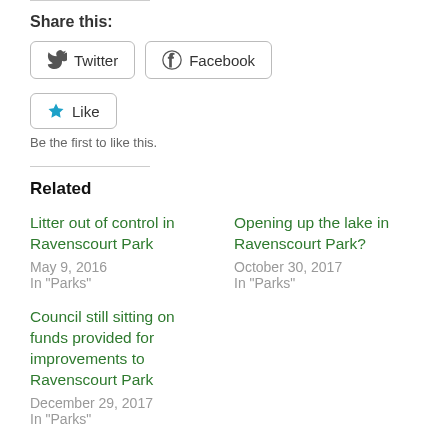Share this:
Twitter  Facebook
Like  Be the first to like this.
Related
Litter out of control in Ravenscourt Park
May 9, 2016
In "Parks"
Opening up the lake in Ravenscourt Park?
October 30, 2017
In "Parks"
Council still sitting on funds provided for improvements to Ravenscourt Park
December 29, 2017
In "Parks"
This entry was posted in Parks and tagged Ravenscourt Park. Bookmark the